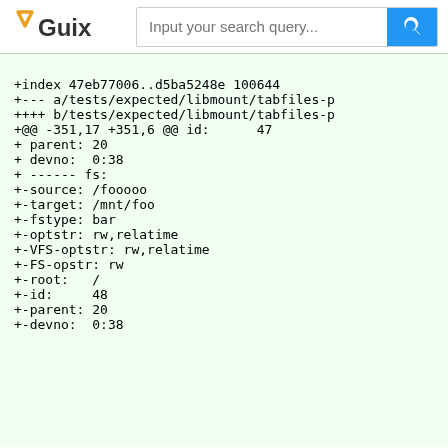Guix — Input your search query...
+index 47eb77006..d5ba5248e 100644
+--- a/tests/expected/libmount/tabfiles-p
++++ b/tests/expected/libmount/tabfiles-p
+@@ -351,17 +351,6 @@ id:      47
+ parent: 20
+ devno:  0:38
+ ------ fs:
+-source: /fooooo
+-target: /mnt/foo
+-fstype: bar
+-optstr: rw,relatime
+-VFS-optstr: rw,relatime
+-FS-opstr: rw
+-root:   /
+-id:     48
+-parent: 20
+-devno:  0:38